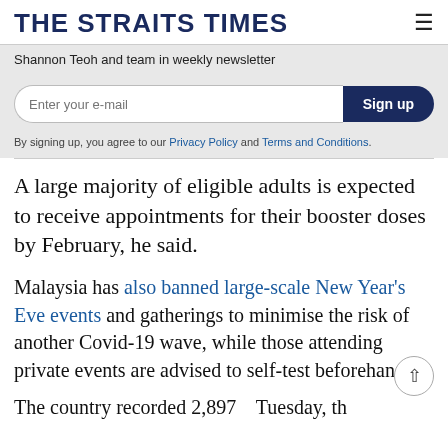THE STRAITS TIMES
Shannon Teoh and team in weekly newsletter
Enter your e-mail  Sign up
By signing up, you agree to our Privacy Policy and Terms and Conditions.
A large majority of eligible adults is expected to receive appointments for their booster doses by February, he said.
Malaysia has also banned large-scale New Year's Eve events and gatherings to minimise the risk of another Covid-19 wave, while those attending private events are advised to self-test beforehand.
The country recorded 2,897...  Tuesday, th...